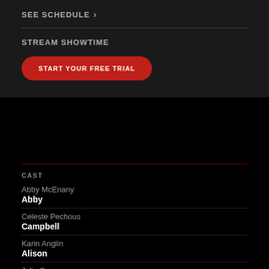SEE SCHEDULE ›
STREAM SHOWTIME
START YOUR FREE TRIAL
CAST
Abby McEnany
Abby
Celeste Pechous
Campbell
Karin Anglin
Alison
Julia Sweeney